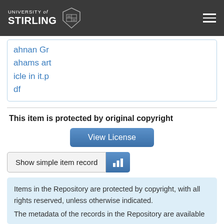UNIVERSITY of STIRLING
ahnan Grahams article in it.pdf
This item is protected by original copyright
View License
Show simple item record
Items in the Repository are protected by copyright, with all rights reserved, unless otherwise indicated.
The metadata of the records in the Repository are available